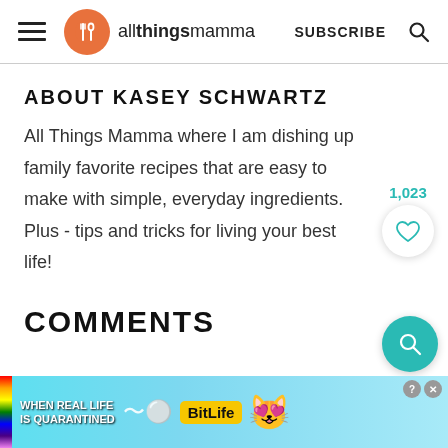allthingsmamma | SUBSCRIBE
ABOUT KASEY SCHWARTZ
All Things Mamma where I am dishing up family favorite recipes that are easy to make with simple, everyday ingredients. Plus - tips and tricks for living your best life!
COMMENTS
[Figure (screenshot): Advertisement banner: BitLife game ad with rainbow stripe, text 'WHEN REAL LIFE IS QUARANTINED', BitLife logo, and emoji characters]